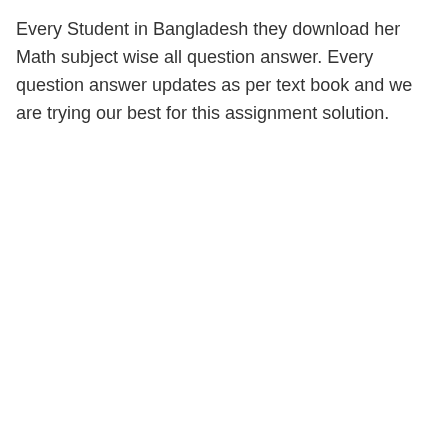Every Student in Bangladesh they download her Math subject wise all question answer. Every question answer updates as per text book and we are trying our best for this assignment solution.